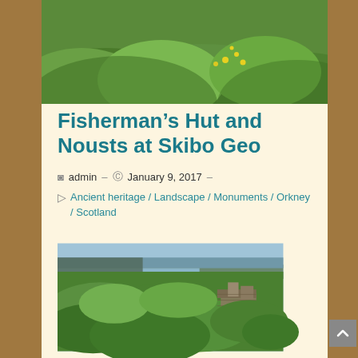[Figure (photo): Top banner photo of lush green grassy hillside with yellow wildflowers]
Fisherman’s Hut and Nousts at Skibo Geo
å admin  –  ⓘ January 9, 2017  –
□ Ancient heritage / Landscape / Monuments / Orkney / Scotland
[Figure (photo): Landscape photo showing green grassy mounds with ruins of a stone structure, and coastline/sea visible in the background]